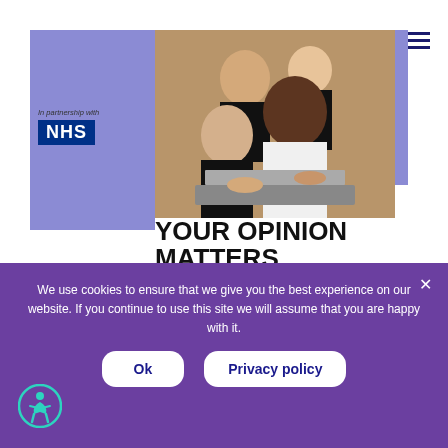[Figure (infographic): Workshop promotional page showing group of people around a laptop, with NHS partnership logo, purple decorative panels, double/triple chevron arrows, and event details for 'Your Opinion Matters Workshop']
YOUR OPINION MATTERS
WORKSHOP   Tuesday 30th August at 2-4 pm
Location: Mind in Haringey
73c Stapleton Hall Road, N4 3QF, London
We use cookies to ensure that we give you the best experience on our website. If you continue to use this site we will assume that you are happy with it.